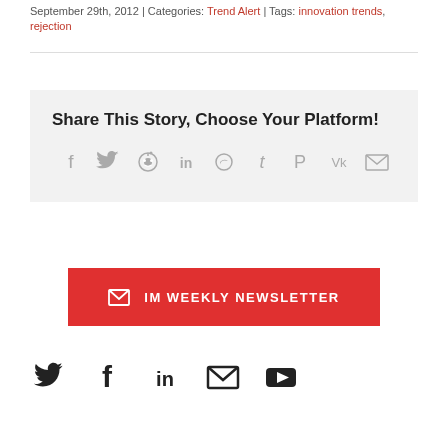September 29th, 2012 | Categories: Trend Alert | Tags: innovation trends, rejection
[Figure (infographic): Share This Story, Choose Your Platform! section with social media icons: Facebook, Twitter, Reddit, LinkedIn, WhatsApp, Tumblr, Pinterest, Vk, Email]
[Figure (infographic): Red newsletter button: IM WEEKLY NEWSLETTER with envelope icon]
[Figure (infographic): Footer social media icons: Twitter, Facebook, LinkedIn, Email, YouTube]